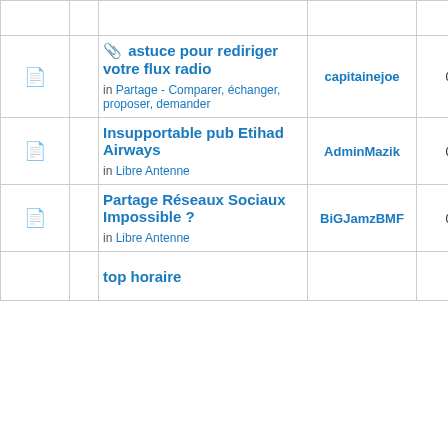|  |  | Topic | Author | Replies | Views |
| --- | --- | --- | --- | --- | --- |
|  |  | 📎 astuce pour rediriger votre flux radio
in Partage - Comparer, échanger, proposer, demander | capitainejoe | 0 | 64606 |
|  |  | Insupportable pub Etihad Airways
in Libre Antenne | AdminMazik | 0 | 7949 |
|  |  | Partage Réseaux Sociaux Impossible ?
in Libre Antenne | BiGJamzBMF | 0 | 7610 |
|  |  | top horaire |  |  |  |